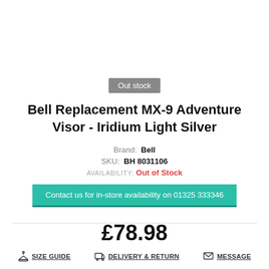Out stock
Bell Replacement MX-9 Adventure Visor - Iridium Light Silver
Brand: Bell
SKU: BH 8031106
AVAILABILITY: Out of Stock
Contact us for in-store availability on 01325 333346
£78.98
SIZE GUIDE
DELIVERY & RETURN
MESSAGE